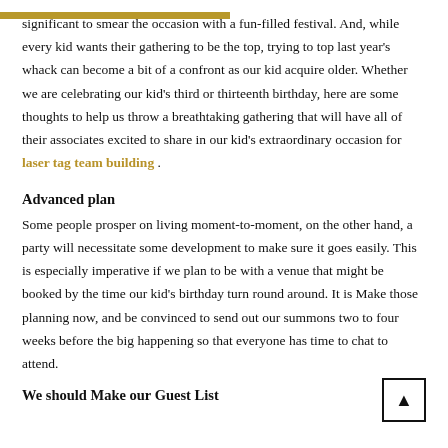significant to smear the occasion with a fun-filled festival. And, while every kid wants their gathering to be the top, trying to top last year's whack can become a bit of a confront as our kid acquire older. Whether we are celebrating our kid's third or thirteenth birthday, here are some thoughts to help us throw a breathtaking gathering that will have all of their associates excited to share in our kid's extraordinary occasion for laser tag team building .
Advanced plan
Some people prosper on living moment-to-moment, on the other hand, a party will necessitate some development to make sure it goes easily. This is especially imperative if we plan to be with a venue that might be booked by the time our kid's birthday turn round around. It is Make those planning now, and be convinced to send out our summons two to four weeks before the big happening so that everyone has time to chat to attend.
We should Make our Guest List